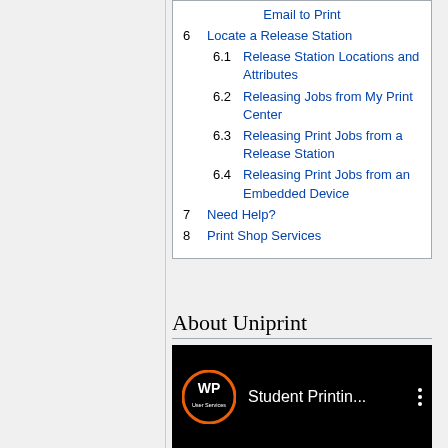Email to Print
6 Locate a Release Station
6.1 Release Station Locations and Attributes
6.2 Releasing Jobs from My Print Center
6.3 Releasing Print Jobs from a Release Station
6.4 Releasing Print Jobs from an Embedded Device
7 Need Help?
8 Print Shop Services
About Uniprint
[Figure (screenshot): Video thumbnail showing WP User Services logo (orange circle with WP text) on black background with title 'Student Printin...' and a three-dot menu icon]